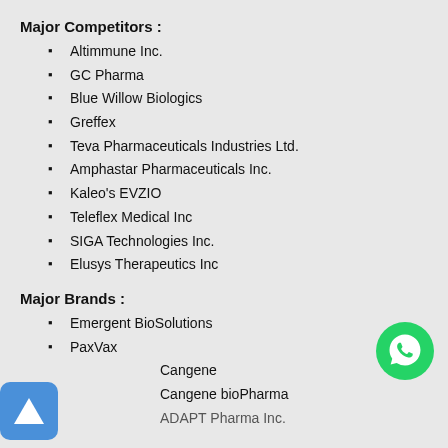Major Competitors :
Altimmune Inc.
GC Pharma
Blue Willow Biologics
Greffex
Teva Pharmaceuticals Industries Ltd.
Amphastar Pharmaceuticals Inc.
Kaleo's EVZIO
Teleflex Medical Inc
SIGA Technologies Inc.
Elusys Therapeutics Inc
Major Brands :
Emergent BioSolutions
PaxVax
Cangene
Cangene bioPharma
ADAPT Pharma Inc.